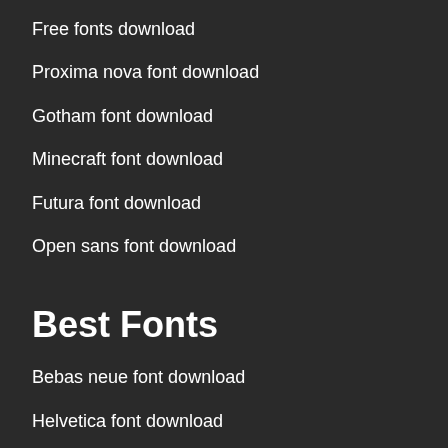Free fonts download
Proxima nova font download
Gotham font download
Minecraft font download
Futura font download
Open sans font download
Best Fonts
Bebas neue font download
Helvetica font download
Old english font download